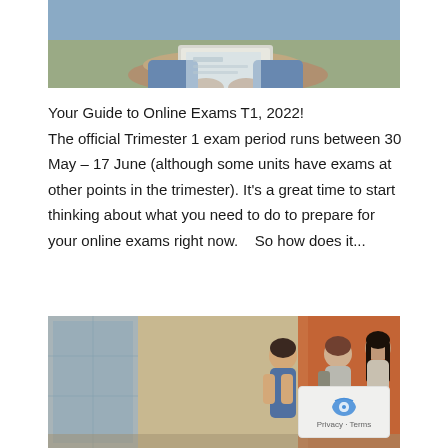[Figure (photo): Person in denim shirt typing on a laptop computer, viewed from above/side angle]
Your Guide to Online Exams T1, 2022!
The official Trimester 1 exam period runs between 30 May – 17 June (although some units have exams at other points in the trimester). It's a great time to start thinking about what you need to do to prepare for your online exams right now.   So how does it...
[Figure (photo): Group of four university students walking on campus, chatting and carrying books and bags]